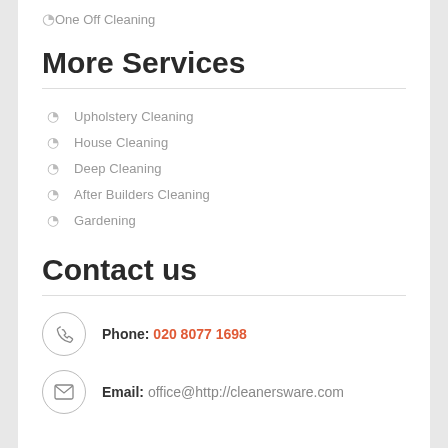One Off Cleaning
More Services
Upholstery Cleaning
House Cleaning
Deep Cleaning
After Builders Cleaning
Gardening
Contact us
Phone: 020 8077 1698
Email: office@http://cleanersware.com